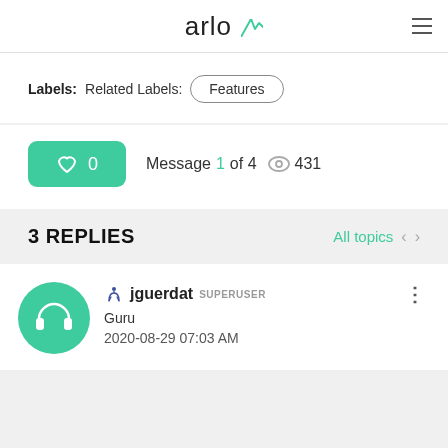arlo
Labels:  Related Labels:  Features
♡ 0   Message 1 of 4   👁 431
3 REPLIES
All topics  <  >
jguerdat  SUPERUSER
Guru
2020-08-29 07:03 AM